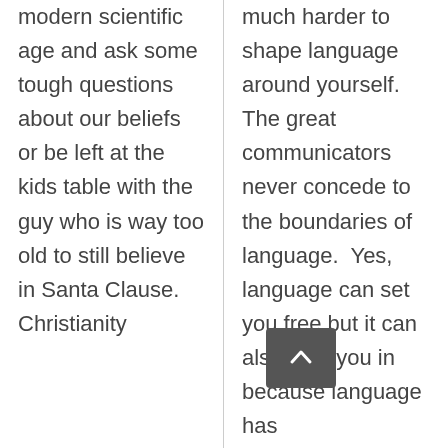modern scientific age and ask some tough questions about our beliefs or be left at the kids table with the guy who is way too old to still believe in Santa Clause. Christianity
much harder to shape language around yourself. The great communicators never concede to the boundaries of language. Yes, language can set you free but it can also hold you in because language has